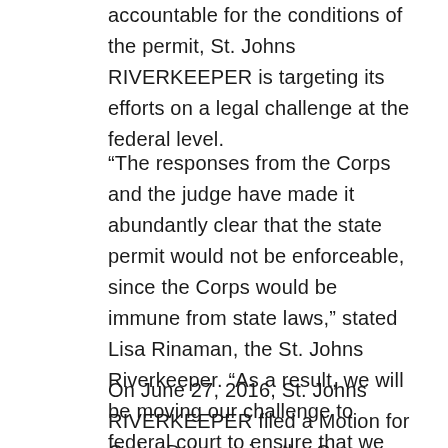accountable for the conditions of the permit, St. Johns RIVERKEEPER is targeting its efforts on a legal challenge at the federal level.
“The responses from the Corps and the judge have made it abundantly clear that the state permit would not be enforceable, since the Corps would be immune from state laws,” stated Lisa Rinaman, the St. Johns Riverkeeper. “As a result, we will be moving our challenge to federal court to ensure that we have a fighting chance of protecting our river from the damage that will occur from the deep dredge.”
On June 27, 2016, St. Johns RIVERKEEPER filed a Motion for Order Determining the Corps